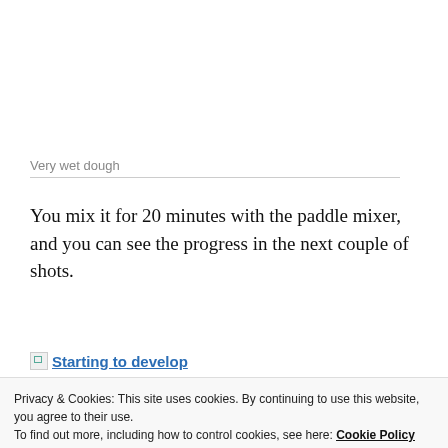Very wet dough
You mix it for 20 minutes with the paddle mixer, and you can see the progress in the next couple of shots.
[Figure (photo): Broken image placeholder with link text 'Starting to develop']
Privacy & Cookies: This site uses cookies. By continuing to use this website, you agree to their use.
To find out more, including how to control cookies, see here: Cookie Policy
Close and accept